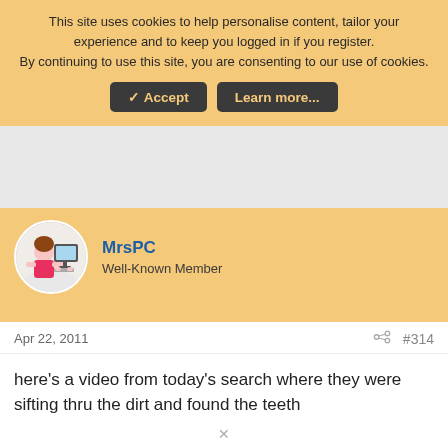This site uses cookies to help personalise content, tailor your experience and to keep you logged in if you register.
By continuing to use this site, you are consenting to our use of cookies.
Accept   Learn more...
[Figure (illustration): Grey advertisement placeholder area]
[Figure (illustration): Avatar of MrsPC - cartoon woman at a computer]
MrsPC
Well-Known Member
Apr 22, 2011
#314
here's a video from today's search where they were sifting thru the dirt and found the teeth